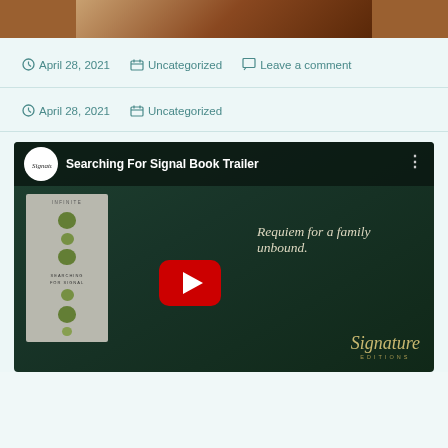[Figure (photo): Partial photo strip at top showing a brown/reddish-brown surface]
April 28, 2021   Uncategorized   Leave a comment
April 28, 2021   Uncategorized
[Figure (screenshot): YouTube video thumbnail for 'Searching For Signal Book Trailer' by Signature Editions. Shows a book cover with green dots on gray background, text 'Requiem for a family unbound.' a YouTube play button, and the Signature Editions logo in cursive.]